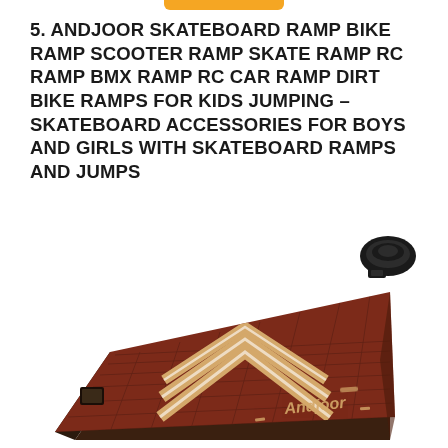5. ANDJOOR SKATEBOARD RAMP BIKE RAMP SCOOTER RAMP SKATE RAMP RC RAMP BMX RAMP RC CAR RAMP DIRT BIKE RAMPS FOR KIDS JUMPING – SKATEBOARD ACCESSORIES FOR BOYS AND GIRLS WITH SKATEBOARD RAMPS AND JUMPS
[Figure (photo): Photo of an Andjoor brand skateboard ramp in dark red/maroon color with chevron arrow pattern on the surface and white outline arrows. A black strap/buckle accessory is shown to the upper right of the ramp.]